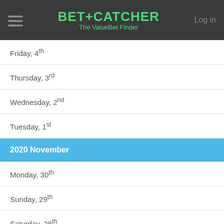BET+CATCHER The ValueBet Finder | Log in
Friday, 4th
Thursday, 3rd
Wednesday, 2nd
Tuesday, 1st
2020 November
Monday, 30th
Sunday, 29th
Saturday, 28th
Friday, 27th
Thursday, 26th
Wednesday, 25th
Tuesday, 24th
Monday, 23rd